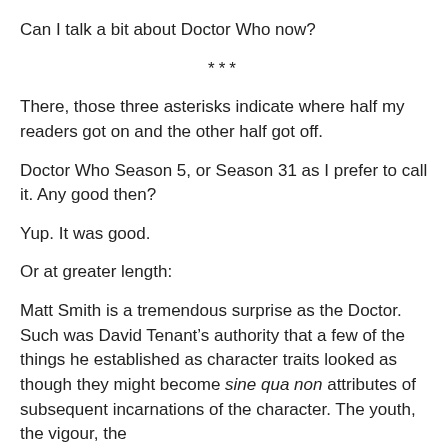Can I talk a bit about Doctor Who now?
***
There, those three asterisks indicate where half my readers got on and the other half got off.
Doctor Who Season 5, or Season 31 as I prefer to call it. Any good then?
Yup. It was good.
Or at greater length:
Matt Smith is a tremendous surprise as the Doctor. Such was David Tenant’s authority that a few of the things he established as character traits looked as though they might become sine qua non attributes of subsequent incarnations of the character. The youth, the vigour, the